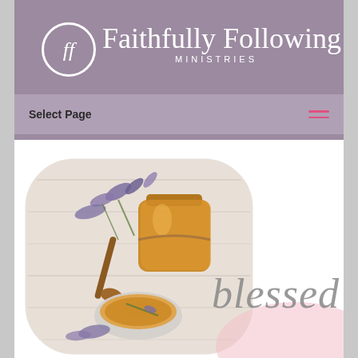[Figure (logo): Faithfully Following Ministries logo with circular monogram FF and script text]
Select Page
[Figure (photo): Honey jar, honey dipper, small bowl of honey, and lavender flowers arranged on a white wooden surface, presented in a rounded rectangular frame]
blessed